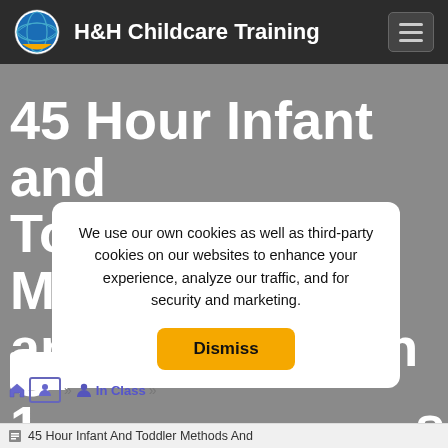H&H Childcare Training
45 Hour Infant and Toddler Methods and Materials In G 1 s
We use our own cookies as well as third-party cookies on our websites to enhance your experience, analyze our traffic, and for security and marketing.
Dismiss
In Class
45 Hour Infant And Toddler Methods And